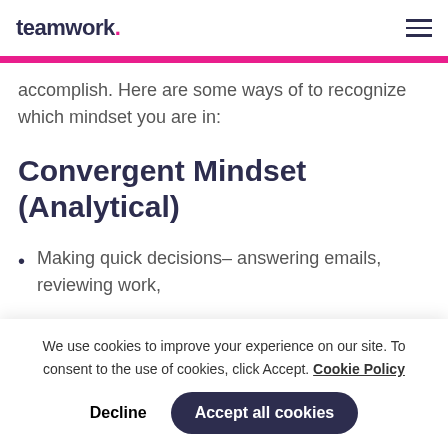teamwork.
accomplish. Here are some ways of to recognize which mindset you are in:
Convergent Mindset (Analytical)
Making quick decisions– answering emails, reviewing work,
We use cookies to improve your experience on our site. To consent to the use of cookies, click Accept. Cookie Policy
Decline  Accept all cookies